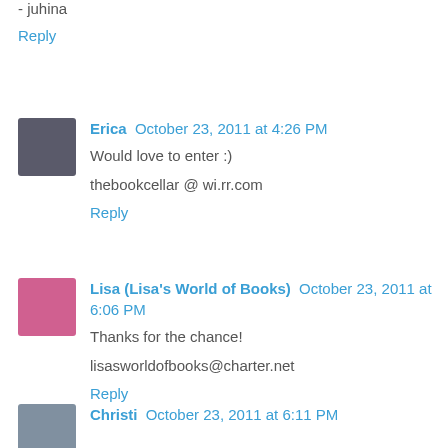- juhina
Reply
Erica  October 23, 2011 at 4:26 PM
Would love to enter :)
thebookcellar @ wi.rr.com
Reply
Lisa (Lisa's World of Books)  October 23, 2011 at 6:06 PM
Thanks for the chance!
lisasworldofbooks@charter.net
Reply
Christi  October 23, 2011 at 6:11 PM